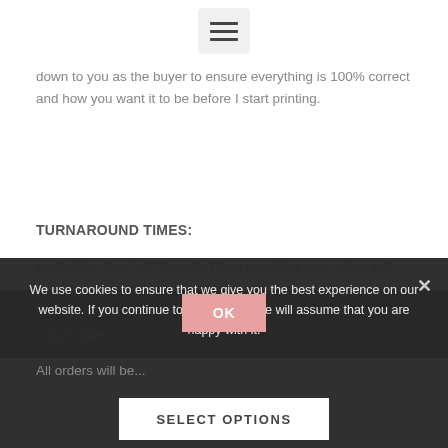[Figure (other): Hamburger menu icon button — three horizontal bars on a light grey rounded background]
down to you as the buyer to ensure everything is 100% correct and how you want it to be before I start printing.
TURNAROUND TIMES:
production time is 1-2 weeks (from receiving your order and wording) although orders are often sent out sooner. Please order 2-3 weeks before your wedding to avoid disappointment. If you need them sooner then
DELIVERY:
All orders will be...
We use cookies to ensure that we give you the best experience on our website. If you continue to use this site we will assume that you are happy with it.
OK
SELECT OPTIONS